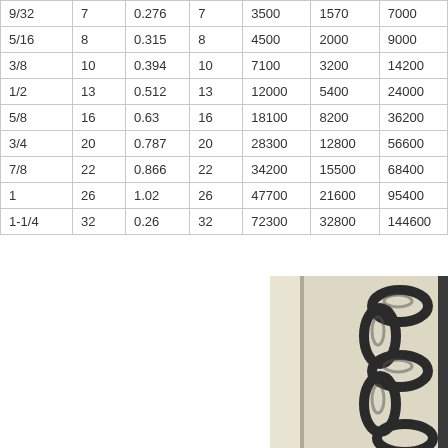| 9/32 | 7 | 0.276 | 7 | 3500 | 1570 | 7000 |
| 5/16 | 8 | 0.315 | 8 | 4500 | 2000 | 9000 |
| 3/8 | 10 | 0.394 | 10 | 7100 | 3200 | 14200 |
| 1/2 | 13 | 0.512 | 13 | 12000 | 5400 | 24000 |
| 5/8 | 16 | 0.63 | 16 | 18100 | 8200 | 36200 |
| 3/4 | 20 | 0.787 | 20 | 28300 | 12800 | 56600 |
| 7/8 | 22 | 0.866 | 22 | 34200 | 15500 | 68400 |
| 1 | 26 | 1.02 | 26 | 47700 | 21600 | 95400 |
| 1-1/4 | 32 | 0.26 | 32 | 72300 | 32800 | 144600 |
[Figure (photo): Close-up photo of black metal chain links against a light-colored surface]